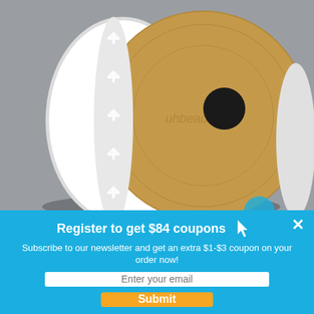[Figure (photo): A spool of white snowflake-shaped ribbon/trim wound around a brown cardboard spool, photographed against a gray background. A watermark reading 'uhbeads.com' is visible on the spool face.]
Register to get $84 coupons
Subscribe to our newsletter and get an extra $1-$3 coupon on your order now!